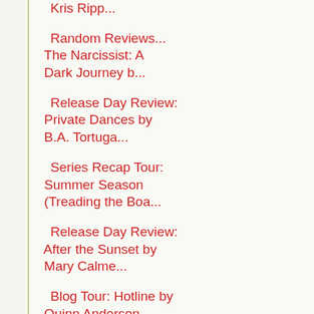Kris Ripp...
Random Reviews... The Narcissist: A Dark Journey b...
Release Day Review: Private Dances by B.A. Tortuga...
Series Recap Tour: Summer Season (Treading the Boa...
Release Day Review: After the Sunset by Mary Calme...
Blog Tour: Hotline by Quinn Anderson #Review #Give...
Release Day Review: Love in G Minor by Sean Michae...
Blog Tour: The Secrets in My Scowl by A.E. Via #Re...